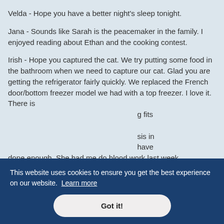Velda - Hope you have a better night's sleep tonight.
Jana - Sounds like Sarah is the peacemaker in the family. I enjoyed reading about Ethan and the cooking contest.
Irish - Hope you captured the cat. We try putting some food in the bathroom when we need to capture our cat. Glad you are getting the refrigerator fairly quickly. We replaced the French door/bottom freezer model we had with a top freezer. I love it. There is [obscured] g fits [obscured] sis in [obscured] have done enough. She had me do blood work last week.
This website uses cookies to ensure you get the best experience on our website. Learn more
Got it!